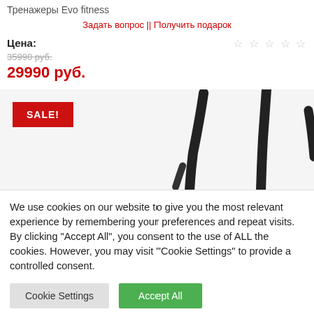Тренажеры Evo fitness
Задать вопрос || Получить подарок
Цена:
35990 руб.
29990 руб.
[Figure (photo): Product image of fitness equipment (elliptical trainer handles visible) with SALE! badge]
We use cookies on our website to give you the most relevant experience by remembering your preferences and repeat visits. By clicking "Accept All", you consent to the use of ALL the cookies. However, you may visit "Cookie Settings" to provide a controlled consent.
Cookie Settings
Accept All